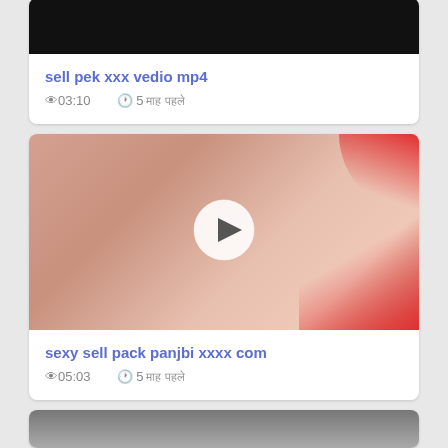[Figure (screenshot): Partial video card at top showing black video thumbnail]
sell pek xxx vedio mp4
👁03:10   🕐 5 माह पहले
[Figure (screenshot): Video thumbnail showing woman in red with play button overlay]
sexy sell pack panjbi xxxx com
👁05:03   🕐 5 माह पहले
[Figure (screenshot): Partial bottom card with video thumbnail beginning to show]